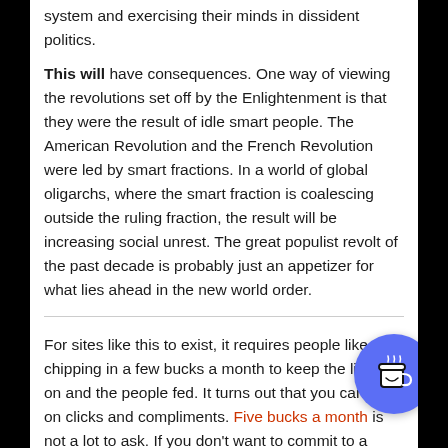system and exercising their minds in dissident politics.
This will have consequences. One way of viewing the revolutions set off by the Enlightenment is that they were the result of idle smart people. The American Revolution and the French Revolution were led by smart fractions. In a world of global oligarchs, where the smart fraction is coalescing outside the ruling fraction, the result will be increasing social unrest. The great populist revolt of the past decade is probably just an appetizer for what lies ahead in the new world order.
For sites like this to exist, it requires people like you chipping in a few bucks a month to keep the lights on and the people fed. It turns out that you can't live on clicks and compliments. Five bucks a month is not a lot to ask. If you don't want to commit to a subscription, make a one time donation. Or, you can send money to: Z Media LLC P.O. Box 432 Cockeysville, MD 21030-0432. You can also use PayPal to send a few bucks, rather than have that latte at
[Figure (illustration): Blue circular button with a coffee cup icon (Buy Me a Coffee style widget)]